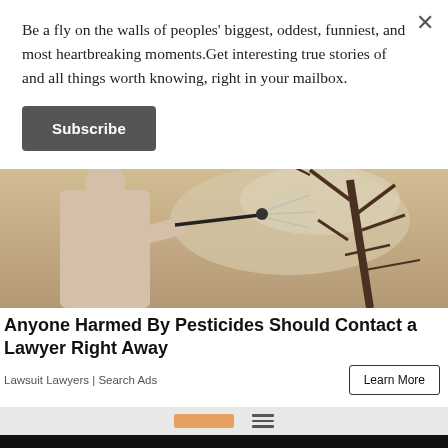Be a fly on the walls of peoples' biggest, oddest, funniest, and most heartbreaking moments.Get interesting true stories of and all things worth knowing, right in your mailbox.
Subscribe
[Figure (photo): Person spraying pesticides toward a barren tree in a field, seen from behind, holding a spray wand.]
Anyone Harmed By Pesticides Should Contact a Lawyer Right Away
Lawsuit Lawyers | Search Ads
Learn More
[Figure (advertisement): Lidl advertisement with text 'Suspiciously Low Prices' and Lidl brand name in blue, with Lidl circular logo and blue diamond arrow icon.]